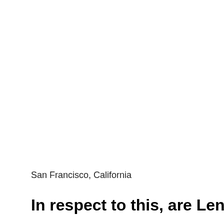San Francisco, California
In respect to this, are Lending